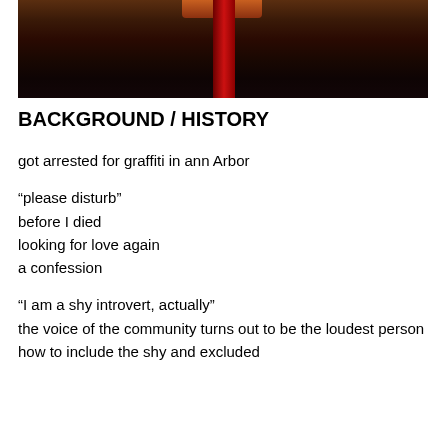[Figure (photo): Dark photograph showing bottles or objects with reddish and orange tones against a dark background, cropped at top]
BACKGROUND / HISTORY
got arrested for graffiti in ann Arbor
“please disturb”
before I died
looking for love again
a confession
“I am a shy introvert, actually”
the voice of the community turns out to be the loudest person
how to include the shy and excluded